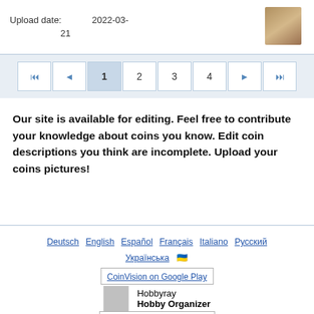Upload date: 2022-03-21
[Figure (photo): Small coin thumbnail image]
Pagination navigation: first, previous, 1 (current), 2, 3, 4, next, last
Our site is available for editing. Feel free to contribute your knowledge about coins you know. Edit coin descriptions you think are incomplete. Upload your coins pictures!
Deutsch  English  Español  Français  Italiano  Русский  Українська  (two square icons)
[Figure (other): CoinVision on Google Play badge]
Hobbyray
Hobby Organizer
[Figure (photo): Hobbyray app thumbnail/icon - gray placeholder]
[Figure (other): CoinVision on the AppStore badge]